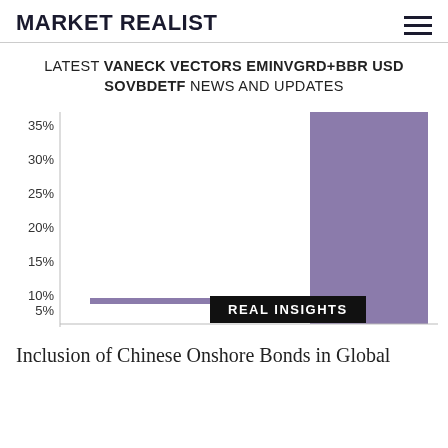MARKET REALIST
LATEST VANECK VECTORS EMINVGRD+BBR USD SOVBDETF NEWS AND UPDATES
[Figure (bar-chart): Latest VanEck Vectors EMInvGrd+BBR USD SovBdETF News and Updates]
Inclusion of Chinese Onshore Bonds in Global